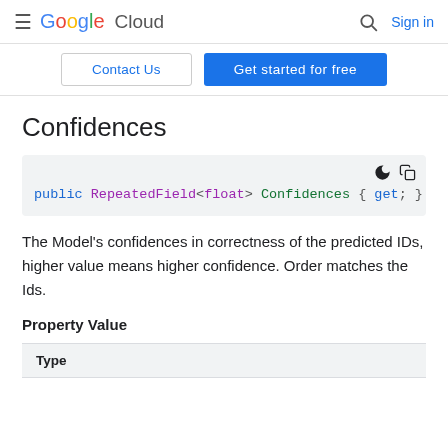Google Cloud   Sign in
Contact Us   Get started for free
Confidences
[Figure (screenshot): Code block showing: public RepeatedField<float> Confidences { get; }]
The Model's confidences in correctness of the predicted IDs, higher value means higher confidence. Order matches the Ids.
Property Value
| Type |
| --- |